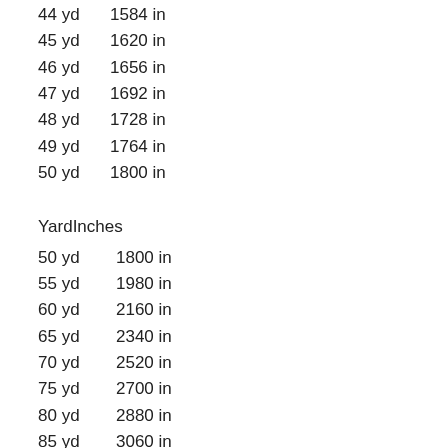44 yd 1584 in
45 yd 1620 in
46 yd 1656 in
47 yd 1692 in
48 yd 1728 in
49 yd 1764 in
50 yd 1800 in
YardInches
50 yd   1800 in
55 yd   1980 in
60 yd   2160 in
65 yd   2340 in
70 yd   2520 in
75 yd   2700 in
80 yd   2880 in
85 yd   3060 in
90 yd   3240 in
95 yd   3420 in
100 yd 3600 in
105 yd 3780 in
110 yd 3960 in
115 yd 4140 in